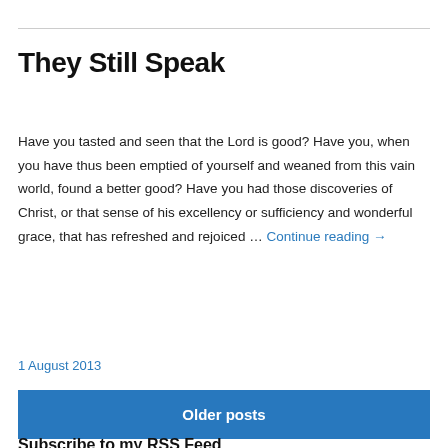They Still Speak
Have you tasted and seen that the Lord is good? Have you, when you have thus been emptied of yourself and weaned from this vain world, found a better good? Have you had those discoveries of Christ, or that sense of his excellency or sufficiency and wonderful grace, that has refreshed and rejoiced … Continue reading →
1 August 2013
Older posts
Subscribe to my RSS Feed